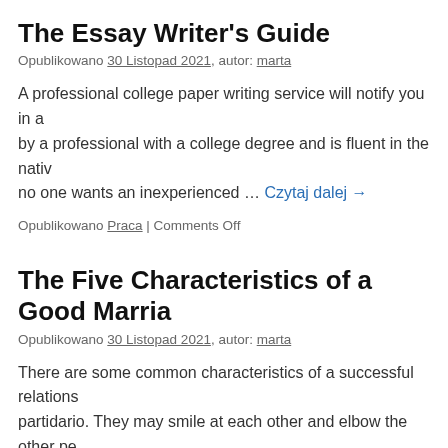The Essay Writer's Guide
Opublikowano 30 Listopad 2021, autor: marta
A professional college paper writing service will notify you in a by a professional with a college degree and is fluent in the nativ no one wants an inexperienced … Czytaj dalej →
Opublikowano Praca | Comments Off
The Five Characteristics of a Good Marria
Opublikowano 30 Listopad 2021, autor: marta
There are some common characteristics of a successful relations partidario. They may smile at each other and elbow the other pe speak differently than the spouses. They may be comfortable …
Opublikowano Praca | Comments Off